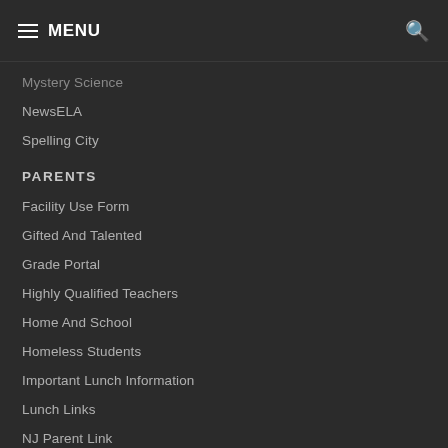MENU
Mystery Science
NewsELA
Spelling City
PARENTS
Facility Use Form
Gifted And Talented
Grade Portal
Highly Qualified Teachers
Home And School
Homeless Students
Important Lunch Information
Lunch Links
NJ Parent Link
Nurse
CONTACT INFO